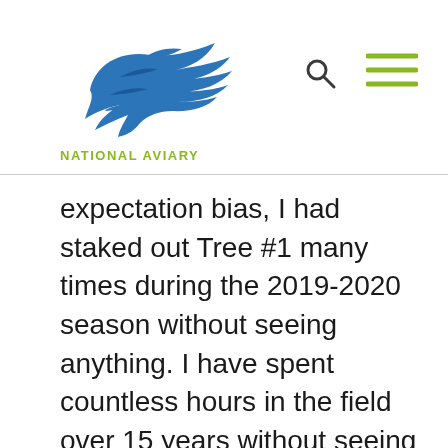[Figure (logo): National Aviary logo — blue stylized bird (eagle/hawk) graphic above olive-green 'NATIONAL AVIARY' text]
expectation bias, I had staked out Tree #1 many times during the 2019-2020 season without seeing anything. I have spent countless hours in the field over 15 years without seeing anything I could be absolutely sure was an Ivorybill. My expectation of having an encounter, visual or auditory, on any given day is extremely low. Any possible